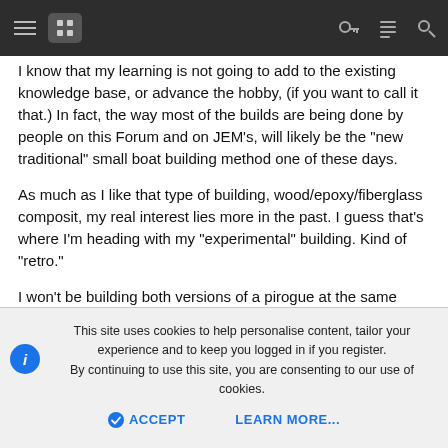building. And better yet, is the learning along the way.
I know that my learning is not going to add to the existing knowledge base, or advance the hobby, (if you want to call it that.) In fact, the way most of the builds are being done by people on this Forum and on JEM's, will likely be the "new traditional" small boat building method one of these days.
As much as I like that type of building, wood/epoxy/fiberglass composit, my real interest lies more in the past. I guess that's where I'm heading with my "experimental" building. Kind of "retro."
I won't be building both versions of a pirogue at the same time, but one after the other. Not sure which I'll start with, but it will be a 12 footer, for several reasons. The second may be the same, or if the first seems just way too small, it will likely be a 14 foot boat. I've built the UJ pirogue at 15ft (+) and found that the extra lenght (and weight) was more than I needed, or wanted to deal with. Looking for a happy
This site uses cookies to help personalise content, tailor your experience and to keep you logged in if you register.
By continuing to use this site, you are consenting to our use of cookies.